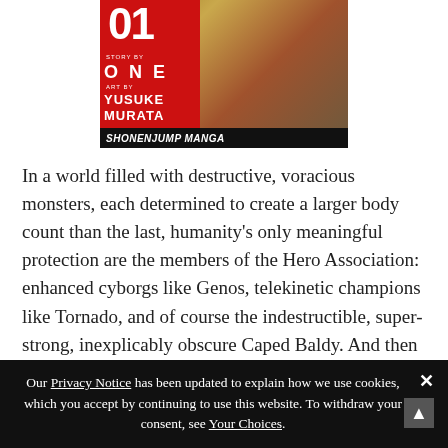[Figure (illustration): Manga book cover for a volume numbered 01, story by ONE, art by Yusuke Murata, published by Shonen Jump Manga. Red panel on left with white number 01, author names in white text. Background shows manga artwork figures in earth tones.]
In a world filled with destructive, voracious monsters, each determined to create a larger body count than the last, humanity’s only meaningful protection are the members of the Hero Association: enhanced cyborgs like Genos, telekinetic champions like Tornado, and of course the indestructible, super-strong, inexplicably obscure Caped Baldy. And then there’s Mumen Rider.
Mumen Rider is a reasonably fit man with no
Our Privacy Notice has been updated to explain how we use cookies, which you accept by continuing to use this website. To withdraw your consent, see Your Choices.